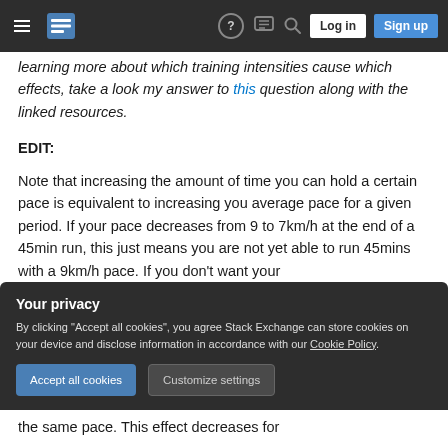Stack Exchange navigation header with hamburger menu, logo, help icon, chat icon, search icon, Log in and Sign up buttons
learning more about which training intensities cause which effects, take a look my answer to this question along with the linked resources.
EDIT:
Note that increasing the amount of time you can hold a certain pace is equivalent to increasing you average pace for a given period. If your pace decreases from 9 to 7km/h at the end of a 45min run, this just means you are not yet able to run 45mins with a 9km/h pace. If you don't want your
Your privacy
By clicking "Accept all cookies", you agree Stack Exchange can store cookies on your device and disclose information in accordance with our Cookie Policy.
the same pace. This effect decreases for